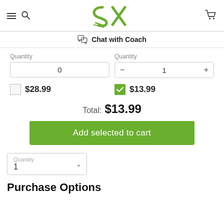SupplementXpress header with hamburger menu, search, logo, cart
Chat with Coach
Quantity 0 / Quantity – 1 +
$28.99 / $13.99
Total: $13.99
Add selected to cart
Quantity 1
Purchase Options